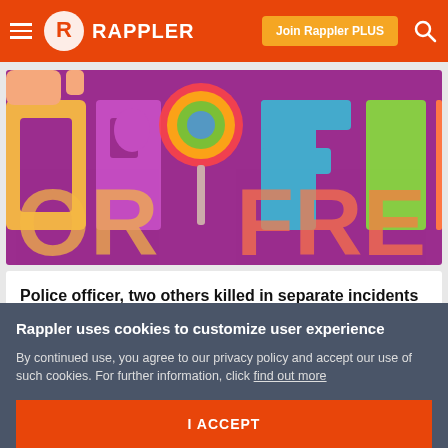Rappler
[Figure (photo): Colorful letters spelling 'FOR FREE' on a purple background with a lollipop]
Police officer, two others killed in separate incidents in Cebu in 24 hours
May 22, 2019 - 12:53 PM
Rappler uses cookies to customize user experience
By continued use, you agree to our privacy policy and accept our use of such cookies. For further information, click find out more
I ACCEPT